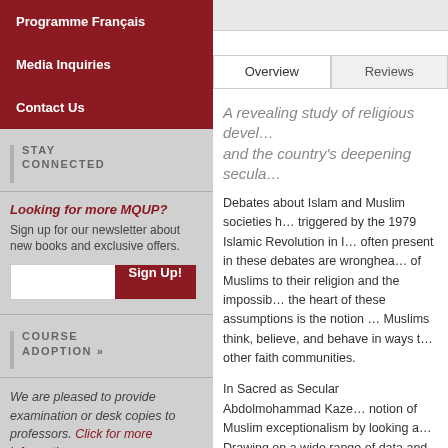Programme Français
Media Inquiries
Contact Us
STAY CONNECTED
Looking for more MQUP? Sign up for our newsletter about new books and exclusive offers.
COURSE ADOPTION »
We are pleased to provide examination or desk copies to professors. Click for more information ›
Overview | Reviews
A revealing study of religious devel… and the country's deepening secula…
Debates about Islam and Muslim societies h… triggered by the 1979 Islamic Revolution in I… often present in these debates are wronghea… of Muslims to their religion and the impossib… the heart of these assumptions is the notion … Muslims think, believe, and behave in ways t… other faith communities.
In Sacred as Secular Abdolmohammad Kaze… notion of Muslim exceptionalism by looking a… Drawing on a wide range of data and source… surveys collected since the 1970s, he exami… politics and governance, schools and semin…